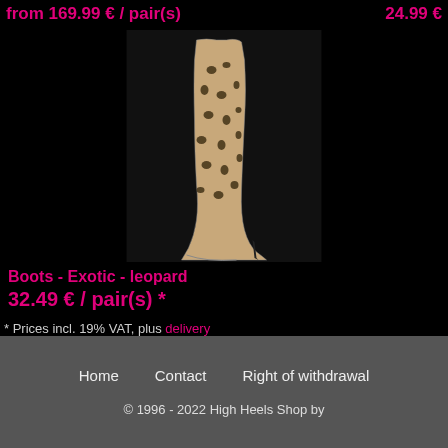from 169.99 € / pair(s)    24.99 €
[Figure (photo): Leopard print high-heel over-the-knee boots on a model's leg against a white background]
Boots - Exotic - leopard
32.49 € / pair(s) *
* Prices incl. 19% VAT, plus delivery
Browse this category: High-Heels BOOTS
Home    Contact    Right of withdrawal    © 1996 - 2022 High Heels Shop by